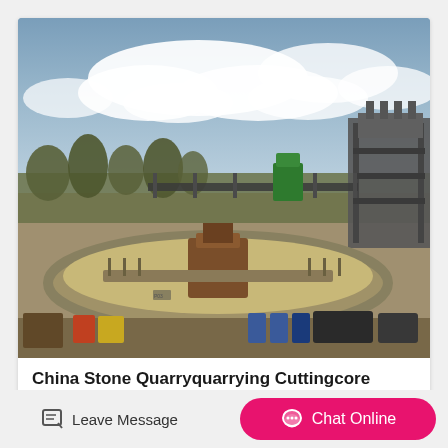[Figure (photo): Outdoor industrial quarry site with a large circular concrete clarifier/thickener tank in the center foreground. Heavy machinery and equipment visible around the tank. Industrial steel structures and conveyor systems visible in the background-right. Trees visible in the middle ground. Overcast blue sky with white clouds overhead. Barrels and equipment at the bottom foreground.]
China Stone Quarryquarrying Cuttingcore
Leave Message
Chat Online